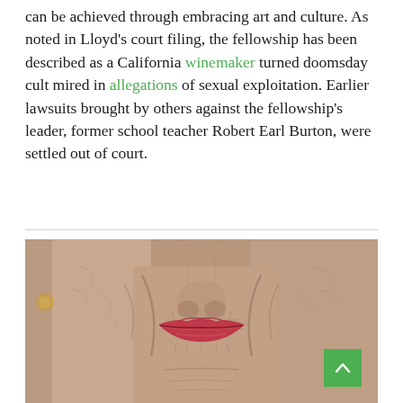can be achieved through embracing art and culture. As noted in Lloyd's court filing, the fellowship has been described as a California winemaker turned doomsday cult mired in allegations of sexual exploitation. Earlier lawsuits brought by others against the fellowship's leader, former school teacher Robert Earl Burton, were settled out of court.
[Figure (photo): Close-up photograph of an elderly woman's face showing wrinkled skin around the mouth and nose area, wearing red lipstick and a gold earring visible on the left side.]